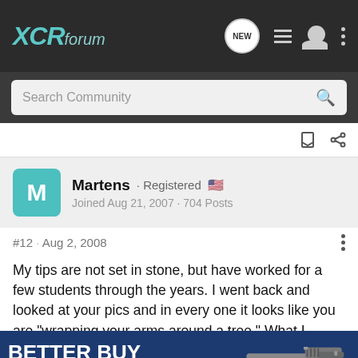XCRforum
Search Community
Martens · Registered
Joined Aug 21, 2007 · 704 Posts
#12 · Aug 2, 2008
My tips are not set in stone, but have worked for a few students through the years. I went back and looked at your pics and in every one it looks like you are "wrapping your arms around a tree." What I teach, and I wish I could remember where I learned it, is to have your elbows down. For a right handed shooter ... right hip, right ab... n class to point ... of the
[Figure (infographic): Advertisement banner showing 'BETTER BUY MORE' text in white on dark blue background, with an image of a pistol/firearm on the right side]